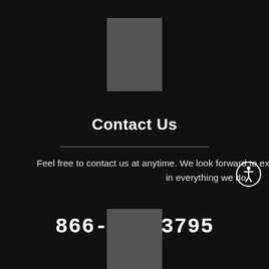[Figure (other): Gray rectangle placeholder image at top center]
Contact Us
Feel free to contact us at anytime. We look forward to exceeding your expectations in everything we do.
866-338-3795
[Figure (other): Accessibility icon - person in circle]
[Figure (other): Gray rectangle placeholder image at bottom center]